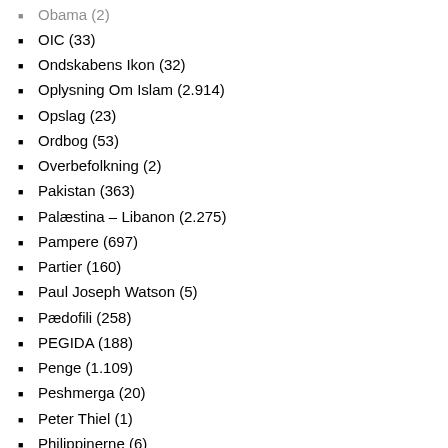Obama (2)
OIC (33)
Ondskabens Ikon (32)
Oplysning Om Islam (2.914)
Opslag (23)
Ordbog (53)
Overbefolkning (2)
Pakistan (363)
Palæstina – Libanon (2.275)
Pampere (697)
Partier (160)
Paul Joseph Watson (5)
Pædofili (258)
PEGIDA (188)
Penge (1.109)
Peshmerga (20)
Peter Thiel (1)
Philippinerne (6)
Polen (93)
Politi (984)
Politik (8.040)